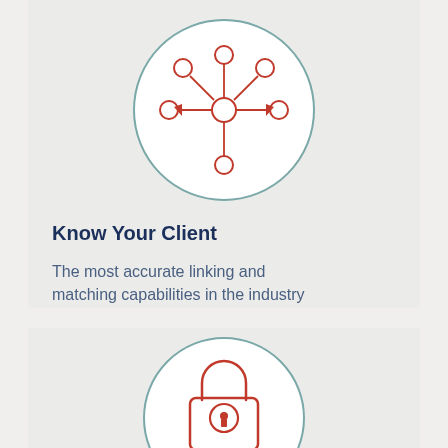[Figure (illustration): A circular icon with a network/hub diagram — a central node connected to surrounding nodes with arrows, drawn in red outline on white background, inside a teal-outlined circle]
Know Your Client
The most accurate linking and matching capabilities in the industry
[Figure (illustration): A circular icon with a padlock symbol drawn in red outline on white background, inside a teal-outlined circle]